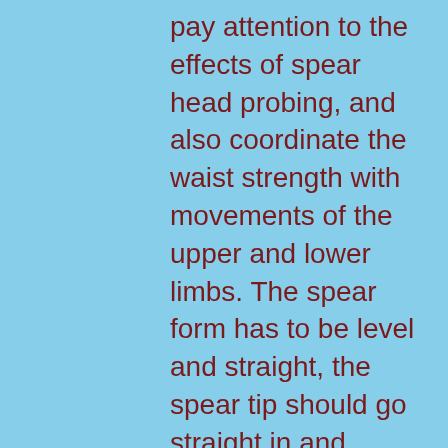pay attention to the effects of spear head probing, and also coordinate the waist strength with movements of the upper and lower limbs. The spear form has to be level and straight, the spear tip should go straight in and straight out, the force should reach the spear tip, with agile and sharp forward motion and quick backward motion. Its appearance is like a magnificent dragon emerging out of water, and its disappearance is like a ferocious tiger retracting into a cave. Besides the aforementioned three kinds of basic spear techniques, there are also techniques like striking